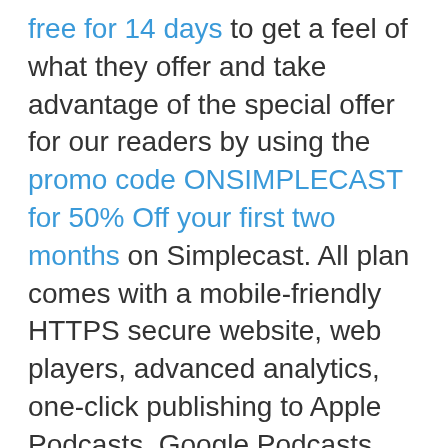free for 14 days to get a feel of what they offer and take advantage of the special offer for our readers by using the promo code ONSIMPLECAST for 50% Off your first two months on Simplecast. All plan comes with a mobile-friendly HTTPS secure website, web players, advanced analytics, one-click publishing to Apple Podcasts, Google Podcasts, Spotify, Stitcher, and many more.
One impressive feature they have is their Recast tool, which allows you or your listeners to create, schedule, and